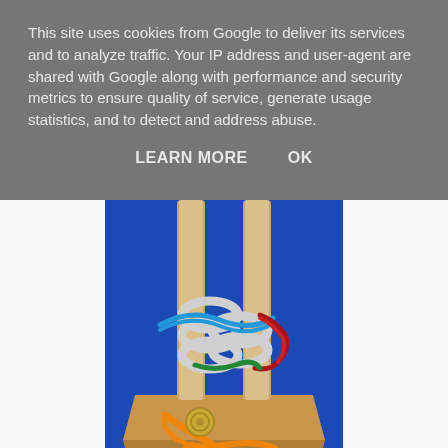This site uses cookies from Google to deliver its services and to analyze traffic. Your IP address and user-agent are shared with Google along with performance and security metrics to ensure quality of service, generate usage statistics, and to detect and address abuse.
LEARN MORE   OK
[Figure (photo): A wooden puzzle toy with two vertical posts on a trapezoidal base, with interlocking rings and colored cords (blue, red, green, orange) threaded through them. A coin is placed at the base for scale. The background is vivid blue.]